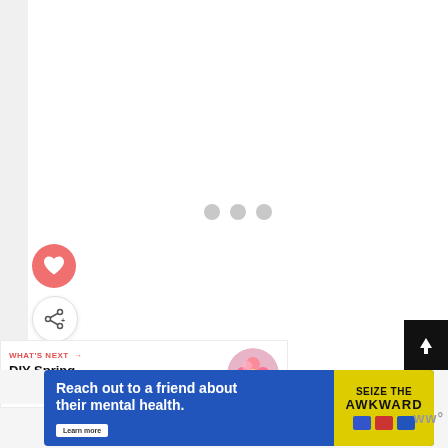[Figure (screenshot): Loading state of a webpage with three gray dots indicating content is loading. White main content area with light gray sidebar on left.]
[Figure (illustration): Pink circular heart/favorite button icon]
[Figure (illustration): White circular share button icon with share symbol and plus sign]
WHAT'S NEXT →
DIY Spring Lollipop...
[Figure (photo): Circular thumbnail image of flowers (spring lollipops)]
[Figure (screenshot): Black scroll-to-top button with up arrow on right edge]
[Figure (infographic): Advertisement banner: 'Reach out to a friend about their mental health. Learn more' with SEIZE THE AWKWARD branding on blue background with yellow badge]